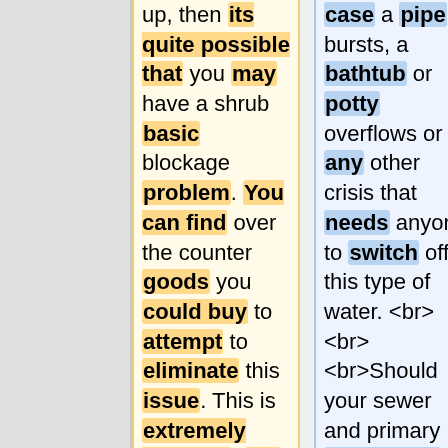up, then its quite possible that you may have a shrub basic blockage problem. You can find over the counter goods you could buy to attempt to eliminate this issue. This is extremely effective, but the thing is normally quite extensive. For that reason, it may well call for a expert in the future out and resolve the problem
case a pipe bursts, a bathtub or potty overflows or any other crisis that needs anyone to switch off this type of water. <br><br><br>Should your sewer and primary collections keep blocking up, then it is really probable you have a shrub root blockage dilemma. There are over the counter merchandise you can get to